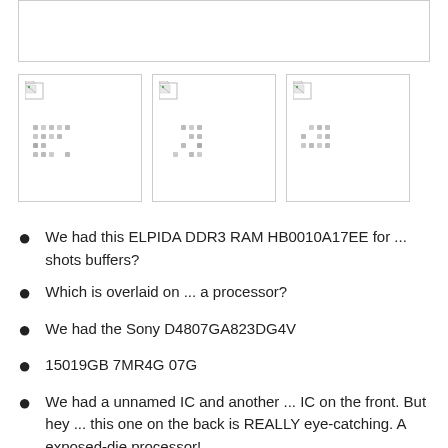[Figure (other): Empty white box with border at top of page]
[Figure (other): Three thumbnail images with broken image icons and pixel dot patterns]
We had this ELPIDA DDR3 RAM HB0010A17EE for ... shots buffers?
Which is overlaid on ... a processor?
We had the Sony D4807GA823DG4V
15019GB 7MR4G 07G
We had a unnamed IC and another ... IC on the front. But hey ... this one on the back is REALLY eye-catching. A exposed-die processor!